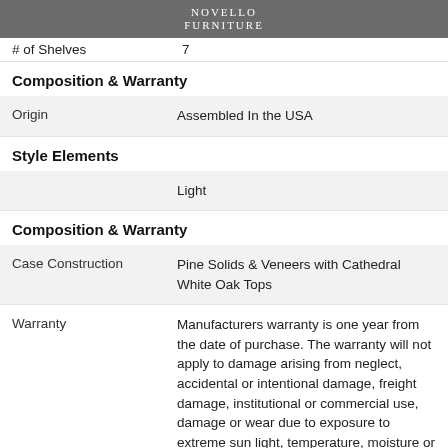NOVELLO FURNITURE
|  |  |
| --- | --- |
| # of Shelves | 7 |
Composition & Warranty
|  |  |
| --- | --- |
| Origin | Assembled In the USA |
Style Elements
|  |  |
| --- | --- |
|  | Light |
Composition & Warranty
|  |  |
| --- | --- |
| Case Construction | Pine Solids & Veneers with Cathedral White Oak Tops |
| Warranty | Manufacturers warranty is one year from the date of purchase. The warranty will not apply to damage arising from neglect, accidental or intentional damage, freight damage, institutional or commercial use, damage or wear due to exposure to extreme sun light, temperature, moisture or humidity. |